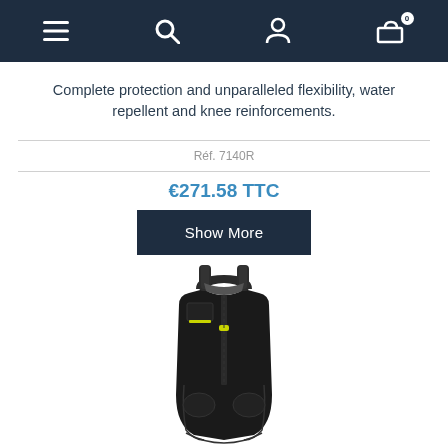Navigation bar with menu, search, account, and cart (0 items) icons
Complete protection and unparalleled flexibility, water repellent and knee reinforcements.
Réf. 7140R
€271.58 TTC
Show More
[Figure (photo): Black bib overall / dungaree workwear garment with yellow-green zipper detail and shoulder straps, shown from the front against white background]